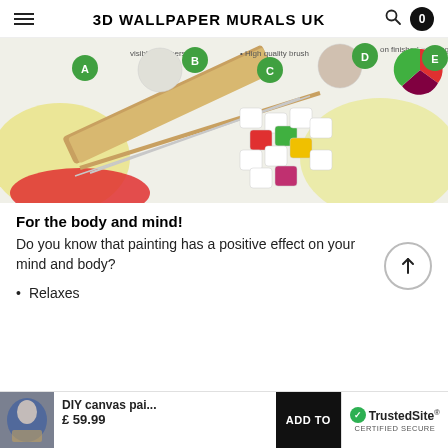3D WALLPAPER MURALS UK
[Figure (photo): Hero image showing a paint-by-numbers kit with labeled circles (A through E) indicating: visible numbers, high quality brush, and finished painting. Shows canvas frame, paint brushes, and small numbered paint pots arranged on a colorful canvas.]
For the body and mind!
Do you know that painting has a positive effect on your mind and body?
Relaxes
DIY canvas pai...
£ 59.99
ADD TO
TrustedSite CERTIFIED SECURE